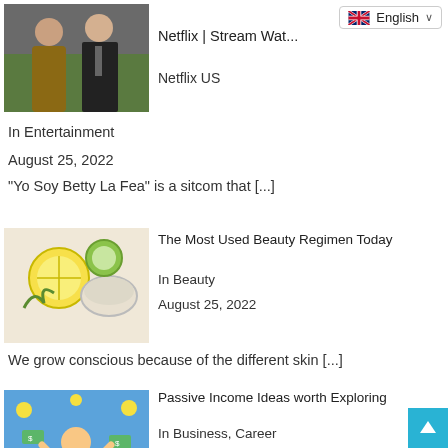[Figure (photo): Two people, a woman and a man in a suit, Netflix article thumbnail]
Netflix | Stream Wat...
Netflix US
In Entertainment
August 25, 2022
“Yo Soy Betty La Fea” is a sitcom that [...]
[Figure (photo): Beauty regimen items: lemon slices, cucumber, bowl with cream on a light background]
The Most Used Beauty Regimen Today
In Beauty
August 25, 2022
We grow conscious because of the different skin [...]
[Figure (illustration): Passive Income illustration: cartoon character with money flying around, blue background]
Passive Income Ideas worth Exploring
In Business, Career
August 23, 2022
Passive income can help you make money without a [...]